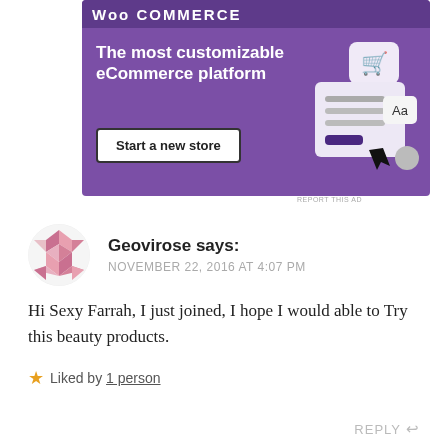[Figure (screenshot): WooCommerce advertisement banner with purple background. Text reads 'The most customizable eCommerce platform' with a 'Start a new store' button and UI mockup graphic.]
REPORT THIS AD
Geovirose says:
NOVEMBER 22, 2016 AT 4:07 PM
Hi Sexy Farrah, I just joined, I hope I would able to Try this beauty products.
★ Liked by 1 person
REPLY